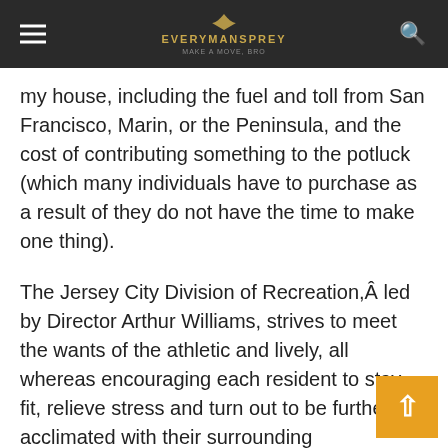EVERYMANSPREY
my house, including the fuel and toll from San Francisco, Marin, or the Peninsula, and the cost of contributing something to the potluck (which many individuals have to purchase as a result of they do not have the time to make one thing).
The Jersey City Division of Recreation,Â led by Director Arthur Williams, strives to meet the wants of the athletic and lively, all whereas encouraging each resident to stay fit, relieve stress and turn out to be further acclimated with their surrounding neighborhood by way of recreational actions.
Excessive sports could be usually outlined as doubtlessly precarious and fast-shifting activities involving special physical strength and abilities...